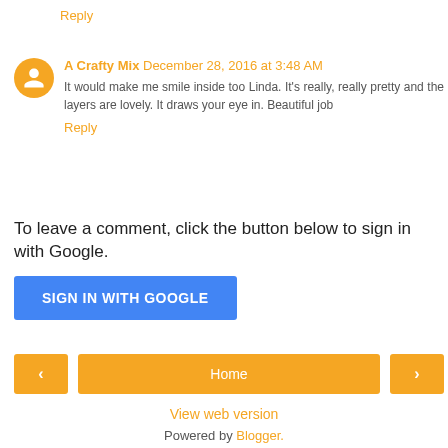Reply
A Crafty Mix  December 28, 2016 at 3:48 AM
It would make me smile inside too Linda. It's really, really pretty and the layers are lovely. It draws your eye in. Beautiful job
Reply
To leave a comment, click the button below to sign in with Google.
SIGN IN WITH GOOGLE
< Home >
View web version
Powered by Blogger.